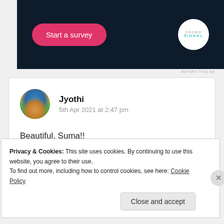[Figure (screenshot): Dark navy ad banner with a pink 'Start a survey' button and Crowdsignal logo circle on the right]
REPORT THIS AD
Jyothi
5th Apr 2021 at 2:47 pm
Beautiful, Suma!!
Privacy & Cookies: This site uses cookies. By continuing to use this website, you agree to their use.
To find out more, including how to control cookies, see here: Cookie Policy
Close and accept